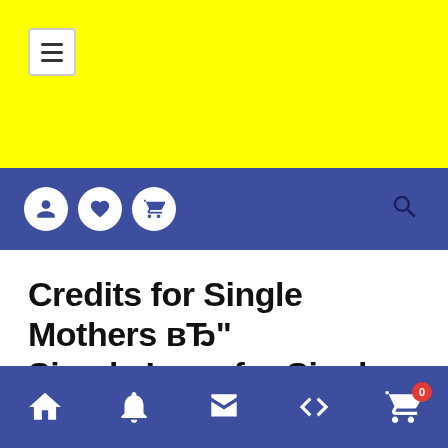[Figure (screenshot): Yellow header bar with hamburger menu icon in white box]
Navigation bar with user, heart, cart icons and search icon on blue background
Credits for Single Mothers вЂ" Simple Loan for Single Moms
Pet Center - 19/10/2020 - approved online cash advance - 0 Comentários
Bottom navigation bar with home, bell, store, percent, cart icons